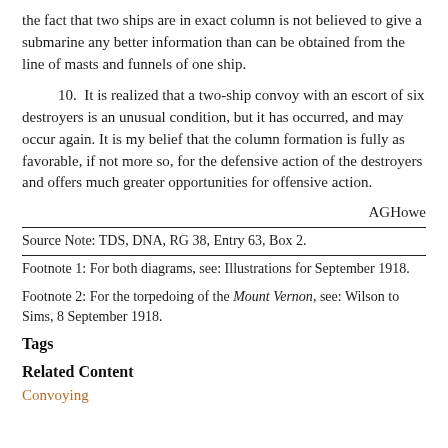the fact that two ships are in exact column is not believed to give a submarine any better information than can be obtained from the line of masts and funnels of one ship.
10.  It is realized that a two-ship convoy with an escort of six destroyers is an unusual condition, but it has occurred, and may occur again. It is my belief that the column formation is fully as favorable, if not more so, for the defensive action of the destroyers and offers much greater opportunities for offensive action.
AGHowe
Source Note: TDS, DNA, RG 38, Entry 63, Box 2.
Footnote 1: For both diagrams, see: Illustrations for September 1918.
Footnote 2: For the torpedoing of the Mount Vernon, see: Wilson to Sims, 8 September 1918.
Tags
Related Content
Convoying